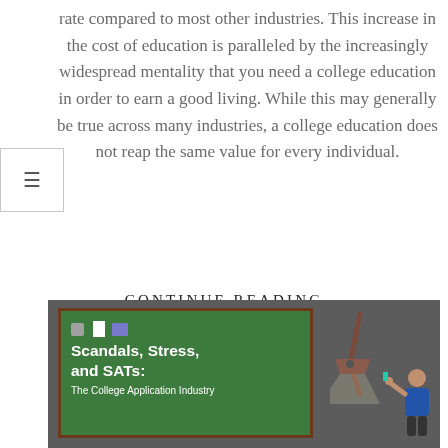rate compared to most other industries. This increase in the cost of education is paralleled by the increasingly widespread mentality that you need a college education in order to earn a good living. While this may generally be true across many industries, a college education does not reap the same value for every individual.
CONTINUE READING
[Figure (illustration): Illustrated image showing a green chalkboard with a pushpin and paper/folder icons, titled 'Scandals, Stress, and SATs: The College Application Industry' in white bold text, with a spotlight lamp and a person figure on a dark grey background.]